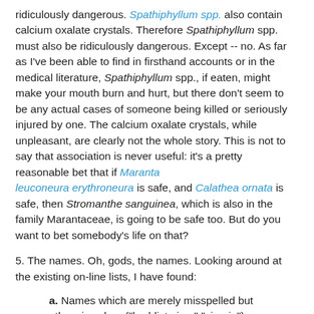ridiculously dangerous. Spathiphyllum spp. also contain calcium oxalate crystals. Therefore Spathiphyllum spp. must also be ridiculously dangerous. Except -- no. As far as I've been able to find in firsthand accounts or in the medical literature, Spathiphyllum spp., if eaten, might make your mouth burn and hurt, but there don't seem to be any actual cases of someone being killed or seriously injured by one. The calcium oxalate crystals, while unpleasant, are clearly not the whole story. This is not to say that association is never useful: it's a pretty reasonable bet that if Maranta leuconeura erythroneura is safe, and Calathea ornata is safe, then Stromanthe sanguinea, which is also in the family Marantaceae, is going to be safe too. But do you want to bet somebody's life on that?
5. The names. Oh, gods, the names. Looking around at the existing on-line lists, I have found:
a. Names which are merely misspelled but otherwise clear ("buddist pine," "cineria"),
b. Common and botanical name mismatches